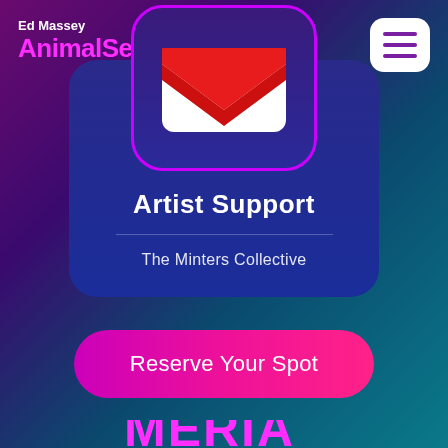Ed Massey
AnimalSeries
[Figure (screenshot): Email envelope icon in red and white on a rounded card with purple/blue gradient background]
Artist Support
The Minters Collective
[Figure (illustration): Pink/magenta rounded rectangle button labeled Reserve Your Spot]
Reserve Your Spot
[Figure (logo): Partial bottom logo text partially visible at bottom of page]